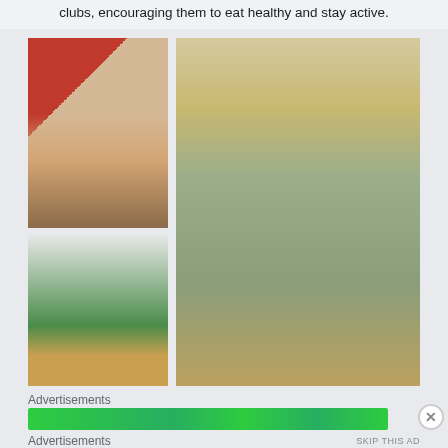clubs, encouraging them to eat healthy and stay active.
[Figure (photo): A woman wearing a sash posing with two young children in a gymnasium with a red wall]
[Figure (photo): A child in a wheelchair with another person in a gymnasium with green bleachers]
[Figure (photo): A teacher or presenter reading to a group of children seated on the floor in a classroom with decorations on the wall]
Advertisements
[Figure (other): Green advertisement banner]
Advertisements